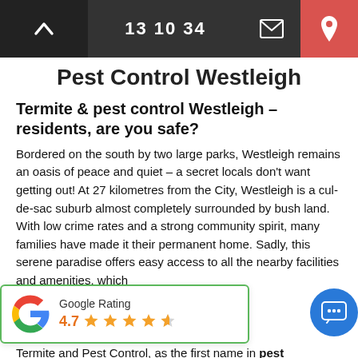13 10 34
Pest Control Westleigh
Termite & pest control Westleigh – residents, are you safe?
Bordered on the south by two large parks, Westleigh remains an oasis of peace and quiet – a secret locals don't want getting out! At 27 kilometres from the City, Westleigh is a cul-de-sac suburb almost completely surrounded by bush land. With low crime rates and a strong community spirit, many families have made it their permanent home. Sadly, this serene paradise offers easy access to all the nearby facilities and amenities, which [...]blems particular to [...] species of invading The team from M&M Termite and Pest Control, as the first name in pest
[Figure (logo): Google Rating widget showing 4.7 stars out of 5 with Google G logo]